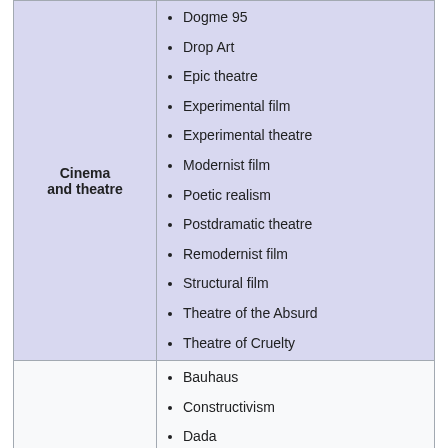| Cinema and theatre | Dogme 95
Drop Art
Epic theatre
Experimental film
Experimental theatre
Modernist film
Poetic realism
Postdramatic theatre
Remodernist film
Structural film
Theatre of the Absurd
Theatre of Cruelty |
|  | Bauhaus
Constructivism
Dada
Expressionalism
Fluxus
(cut off) |